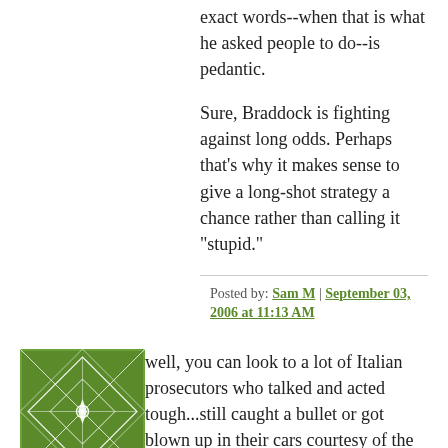exact words--when that is what he asked people to do--is pedantic.
Sure, Braddock is fighting against long odds. Perhaps that's why it makes sense to give a long-shot strategy a chance rather than calling it "stupid."
Posted by: Sam M | September 03, 2006 at 11:13 AM
[Figure (illustration): Green square avatar with geometric diamond/star pattern in white lines on green background]
well, you can look to a lot of Italian prosecutors who talked and acted tough...still caught a bullet or got blown up in their cars courtesy of the Sicilian mob. Gangsters are a different breed than assholes in a bar...and a